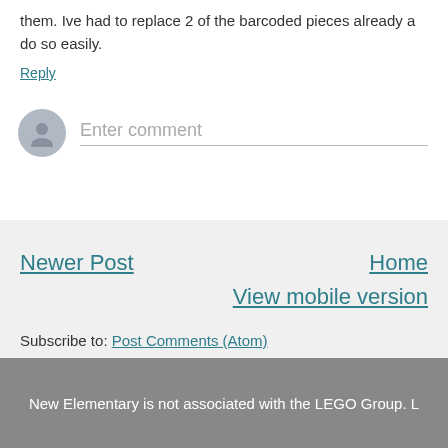them. Ive had to replace 2 of the barcoded pieces already a do so easily.
Reply
Enter comment
Newer Post
Home
View mobile version
Subscribe to: Post Comments (Atom)
New Elementary is not associated with the LEGO Group. L